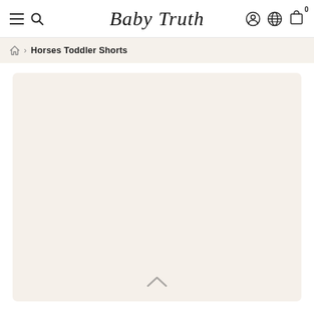Baby Truth — navigation header with hamburger menu, search, logo, account, globe, and cart icons
Horses Toddler Shorts
[Figure (other): Large product image placeholder — a large light beige/cream rounded rectangle with a scroll-up chevron at the bottom center, no product image loaded]